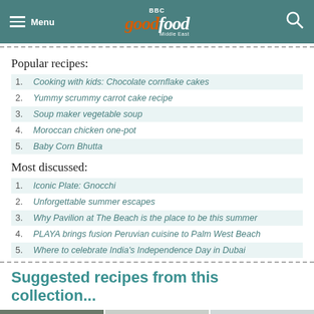Menu | BBC Good Food Middle East
Popular recipes:
1. Cooking with kids: Chocolate cornflake cakes
2. Yummy scrummy carrot cake recipe
3. Soup maker vegetable soup
4. Moroccan chicken one-pot
5. Baby Corn Bhutta
Most discussed:
1. Iconic Plate: Gnocchi
2. Unforgettable summer escapes
3. Why Pavilion at The Beach is the place to be this summer
4. PLAYA brings fusion Peruvian cuisine to Palm West Beach
5. Where to celebrate India's Independence Day in Dubai
Suggested recipes from this collection...
[Figure (photo): Photo strip showing food images]